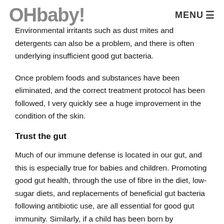OHbaby! MENU☰
Environmental irritants such as dust mites and detergents can also be a problem, and there is often underlying insufficient good gut bacteria.
Once problem foods and substances have been eliminated, and the correct treatment protocol has been followed, I very quickly see a huge improvement in the condition of the skin.
Trust the gut
Much of our immune defense is located in our gut, and this is especially true for babies and children. Promoting good gut health, through the use of fibre in the diet, low-sugar diets, and replacements of beneficial gut bacteria following antibiotic use, are all essential for good gut immunity. Similarly, if a child has been born by Caesarean section, they